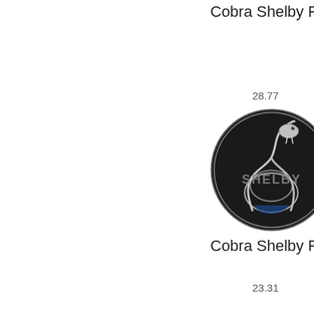Cobra Shelby Ford M
28.77
[Figure (logo): Shelby Cobra snake logo on black circular background with 'SHELBY' text]
Cobra Shelby Ford M
23.31
[Figure (illustration): Water pump backing plate gasket outline illustration]
Water Pump Backin